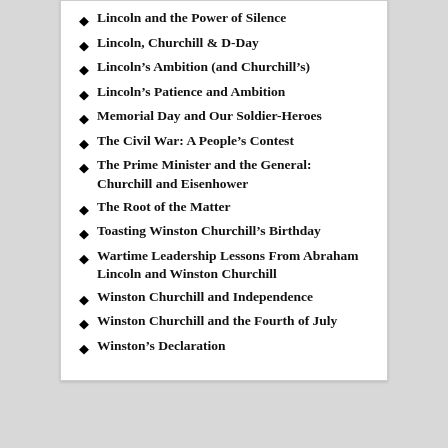Lincoln and the Power of Silence
Lincoln, Churchill & D-Day
Lincoln's Ambition (and Churchill's)
Lincoln's Patience and Ambition
Memorial Day and Our Soldier-Heroes
The Civil War: A People's Contest
The Prime Minister and the General: Churchill and Eisenhower
The Root of the Matter
Toasting Winston Churchill's Birthday
Wartime Leadership Lessons From Abraham Lincoln and Winston Churchill
Winston Churchill and Independence
Winston Churchill and the Fourth of July
Winston's Declaration